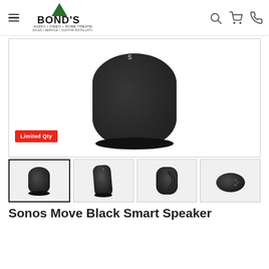[Figure (logo): Bond's Audio Video Home Theater logo with green triangle and text, since 1954]
[Figure (photo): Large Sonos Move Black smart speaker shown from front, with 'Limited Qty' red badge overlay]
[Figure (photo): Thumbnail 1: Sonos Move Black speaker front view (selected/active)]
[Figure (photo): Thumbnail 2: Sonos Move Black speaker front angled view]
[Figure (photo): Thumbnail 3: Sonos Move Black speaker back view showing handle]
[Figure (photo): Thumbnail 4: Sonos Move Black speaker top view]
Sonos Move Black Smart Speaker